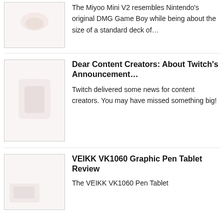[Figure (photo): Thumbnail image, partial view at top, light background with faint object]
The Miyoo Mini V2 resembles Nintendo's original DMG Game Boy while being about the size of a standard deck of...
[Figure (photo): Thumbnail image with faint logo or icon on light pink/white background]
Dear Content Creators: About Twitch's Announcement...
Twitch delivered some news for content creators. You may have missed something big!
[Figure (photo): Thumbnail image, light background with faint object at bottom left]
VEIKK VK1060 Graphic Pen Tablet Review
The VEIKK VK1060 Pen Tablet